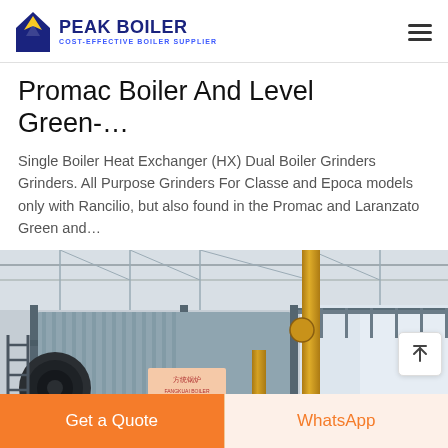PEAK BOILER — COST-EFFECTIVE BOILER SUPPLIER
Promac Boiler And Level Green-…
Single Boiler Heat Exchanger (HX) Dual Boiler Grinders Grinders. All Purpose Grinders For Classe and Epoca models only with Rancilio, but also found in the Promac and Laranzato Green and…
[Figure (photo): Industrial boiler unit in a factory setting with corrugated metal cladding, yellow pipes, and a dark cylindrical burner on the left side, with steel structural framework visible above.]
Get a Quote | WhatsApp